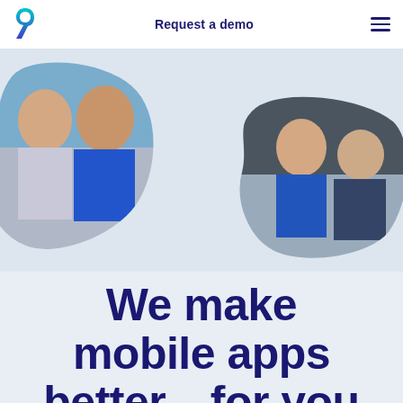Request a demo
[Figure (photo): Two smiling men posing together at an outdoor event, in a blob-shaped frame on the left side of the page]
[Figure (photo): A man and woman smiling and waving in front of a building, in a blob-shaped frame on the right side of the page]
We make mobile apps better—for you